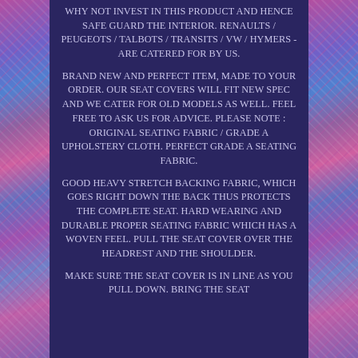WHY NOT INVEST IN THIS PRODUCT AND HENCE SAFE GUARD THE INTERIOR. RENAULTS / PEUGEOTS / TALBOTS / TRANSITS / VW / HYMERS - ARE CATERED FOR BY US.
BRAND NEW AND PERFECT ITEM, MADE TO YOUR ORDER. OUR SEAT COVERS WILL FIT NEW SPEC AND WE CATER FOR OLD MODELS AS WELL. FEEL FREE TO ASK US FOR ADVICE. PLEASE NOTE : ORIGINAL SEATING FABRIC / GRADE A UPHOLSTERY CLOTH. PERFECT GRADE A SEATING FABRIC.
GOOD HEAVY STRETCH BACKING FABRIC, WHICH GOES RIGHT DOWN THE BACK THUS PROTECTS THE COMPLETE SEAT. HARD WEARING AND DURABLE PROPER SEATING FABRIC WHICH HAS A WOVEN FEEL. PULL THE SEAT COVER OVER THE HEADREST AND THE SHOULDER.
MAKE SURE THE SEAT COVER IS IN LINE AS YOU PULL DOWN. BRING THE SEAT